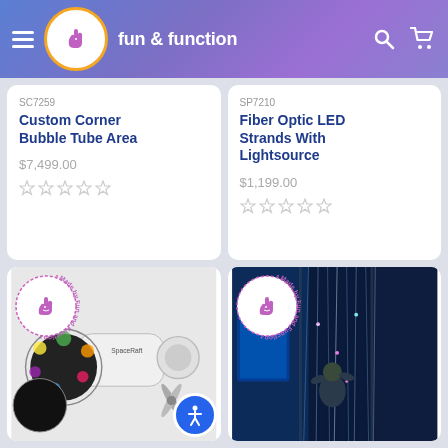fun & function
SC7259
Custom Corner Bubble Tube Area
$7,499.00
SP7210
Fiber Optic LED Strands With Lightsource
$1,199.00
[Figure (photo): SpaceRaft projector device with colorful spinning wheel discs, with Made by Fun and Function badge]
[Figure (photo): Child playing with fiber optic LED strands in a blue-lit room, with Made by Fun and Function badge]